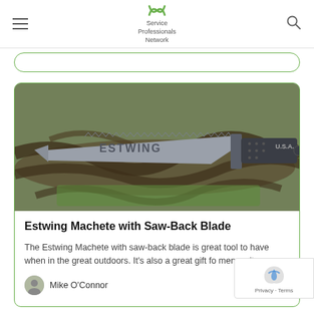Service Professionals Network
[Figure (photo): Estwing machete with saw-back blade resting on tree roots and green moss, photographed outdoors]
Estwing Machete with Saw-Back Blade
The Estwing Machete with saw-back blade is great tool to have when in the great outdoors. It's also a great gift fo men as it…
Mike O'Connor